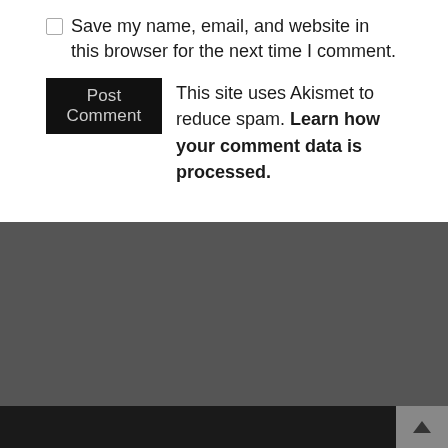Save my name, email, and website in this browser for the next time I comment.
Post Comment  This site uses Akismet to reduce spam. Learn how your comment data is processed.